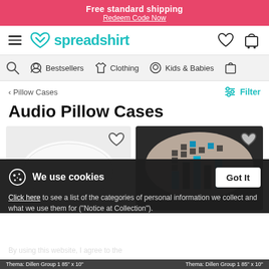Free standard shipping
Redeem Code Now
[Figure (screenshot): Spreadshirt logo with heart icon and teal text, hamburger menu, wishlist heart icon, and cart icon in navigation bar]
Bestsellers  Clothing  Kids & Babies
< Pillow Cases
Filter
Audio Pillow Cases
[Figure (photo): White pillow case product image on light gray background with heart wishlist icon]
[Figure (photo): Beige/tan pillow case with audio equalizer graphic design on dark background, with heart wishlist icon]
We use cookies
Click here to see a list of the categories of personal information we collect and what we use them for ("Notice at Collection").
Privacy Policy
Do Not Sell My Personal Information
By using this website, I agree to the Terms and Conditions
Got It
Thema: Dillen Group 1 85" x 10"   Thema: Dillen Group 1 85" x 10"